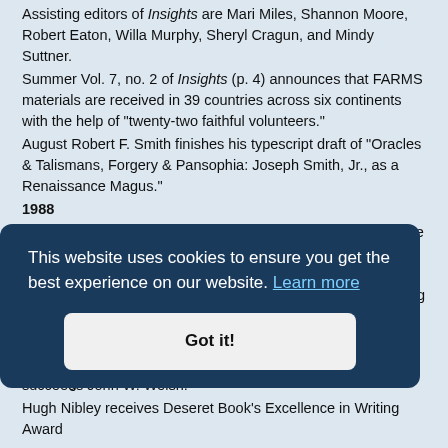Assisting editors of Insights are Mari Miles, Shannon Moore, Robert Eaton, Willa Murphy, Sheryl Cragun, and Mindy Suttner.
Summer Vol. 7, no. 2 of Insights (p. 4) announces that FARMS materials are received in 39 countries across six continents with the help of "twenty-two faithful volunteers."
August Robert F. Smith finishes his typescript draft of "Oracles & Talismans, Forgery & Pansophia: Joseph Smith, Jr., as a Renaissance Magus."
1988
Spring FARMS announces an "Annual Review of Books on the Book of Mormon." Daniel C. Peterson agrees to serve as editor of the series. "Peterson hopes the reviews will inform many readers of the strengths and weaknesses of books being published about the Book of Mormon. See Insights, vol. 8, no. 1, p. 3.
FARMS membership stands at 13,500.
Lori Rogers is hired as Mailist Coordinator.
succeeds John W. Welsh.
Hugh Nibley receives Deseret Book's Excellence in Writing Award
[Figure (other): Cookie consent banner overlay with dark blue background. Text reads: 'This website uses cookies to ensure you get the best experience on our website. Learn more' with a 'Got it!' button.]